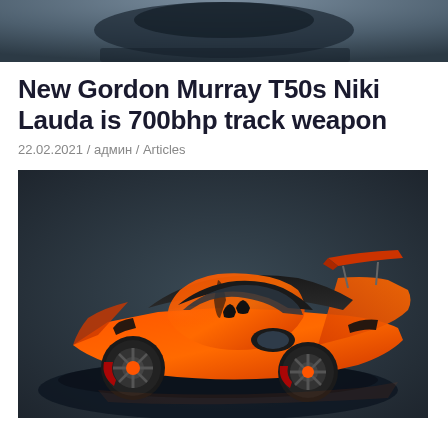[Figure (photo): Partial view of a dark sports car from above, cropped at top of page]
New Gordon Murray T50s Niki Lauda is 700bhp track weapon
22.02.2021 / админ / Articles
[Figure (photo): Orange and black Gordon Murray T50s Niki Lauda supercar on dark studio background, three-quarter front view from above]